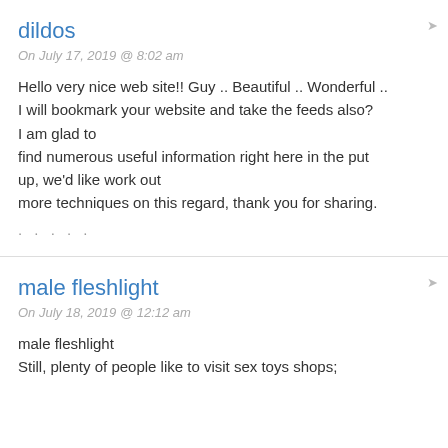dildos
On July 17, 2019 @ 8:02 am
Hello very nice web site!! Guy .. Beautiful .. Wonderful .. I will bookmark your website and take the feeds also? I am glad to find numerous useful information right here in the put up, we'd like work out more techniques on this regard, thank you for sharing.

. . . . .
male fleshlight
On July 18, 2019 @ 12:12 am
male fleshlight
Still, plenty of people like to visit sex toys shops;